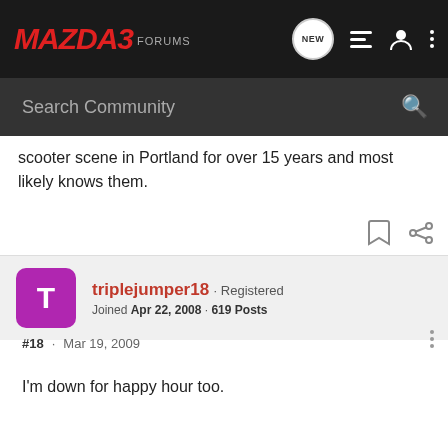MAZDA3 FORUMS
scooter scene in Portland for over 15 years and most likely knows them.
triplejumper18 · Registered
Joined Apr 22, 2008 · 619 Posts
#18 · Mar 19, 2009
I'm down for happy hour too.